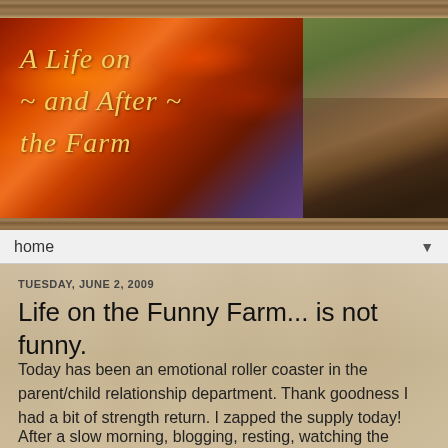[Figure (photo): Blog header banner: left side shows a dramatic orange/red sunset sky with script text 'A Life on ~ and After ~ the Farm'; right side shows a photo of a couple (man and woman) outdoors.]
home ▼
TUESDAY, JUNE 2, 2009
Life on the Funny Farm... is not funny.
Today has been an emotional roller coaster in the parent/child relationship department. Thank goodness I had a bit of strength return. I zapped the supply today!
After a slow morning, blogging, resting, watching the storm